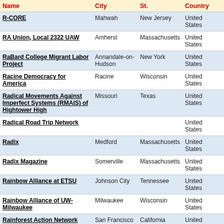| Name | City | St. | Country | Email |
| --- | --- | --- | --- | --- |
| R-CORE | Mahwah | New Jersey | United States | Email |
| RA Union, Local 2322 UAW | Amherst | Massachusetts | United States | Email |
| RaBard College Migrant Labor Project | Annandale-on-Hudson | New York | United States | Email |
| Racine Democracy for America | Racine | Wisconsin | United States | Email |
| Radical Movements Against Imperfect Systems (RMAIS) of Hightower High | Missouri | Texas | United States | Email |
| Radical Road Trip Network |  |  | United States | Email |
| Radix | Medford | Massachusetts | United States | Email |
| Radix Magazine | Somerville | Massachusetts | United States | Email |
| Rainbow Alliance at ETSU | Johnson City | Tennessee | United States | Email |
| Rainbow Alliance of UW-Milwaukee | Milwaukee | Wisconsin | United States | Email |
| Rainforest Action Network | San Francisco | California | United States | Email |